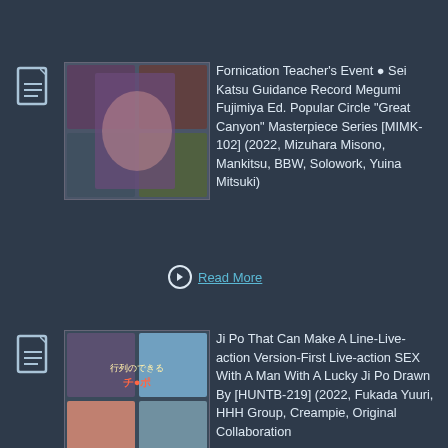[Figure (photo): Document icon (file with lines) for first entry]
[Figure (photo): Thumbnail image for first entry showing adult video cover]
Fornication Teacher's Event ● Sei Katsu Guidance Record Megumi Fujimiya Ed. Popular Circle "Great Canyon" Masterpiece Series [MIMK-102] (2022, Mizuhara Misono, Mankitsu, BBW, Solowork, Yuina Mitsuki)
Read More
[Figure (photo): Document icon (file with lines) for second entry]
[Figure (photo): Thumbnail image for second entry showing adult video cover]
Ji Po That Can Make A Line-Live-action Version-First Live-action SEX With A Man With A Lucky Ji Po Drawn By [HUNTB-219] (2022, Fukada Yuuri, HHH Group, Creampie, Original Collaboration